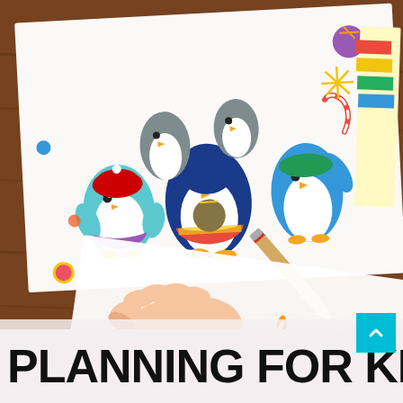[Figure (photo): Photo of colorful Christmas penguin coloring pages and alphabet/music symbol coloring sheets on a wooden table, with a child's hand pressing on one sheet and a wooden colored pencil resting diagonally across the papers.]
PLANNING FOR KIDS